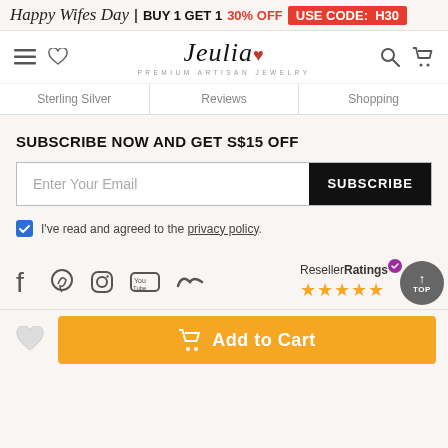Happy Wifes Day | BUY 1 GET 1 30% OFF USE CODE: H30
[Figure (logo): Jeulia PREMIUM ARTISAN JEWELRY logo with hamburger menu, heart icon, search icon, and cart icon]
Sterling Silver   Reviews   Shopping
SUBSCRIBE NOW AND GET S$15 OFF
Enter Your Email  SUBSCRIBE
I've read and agreed to the privacy policy.
[Figure (infographic): Social media icons: Facebook, Pinterest, Instagram, YouTube, Bloglovin. ResellerRatings badge with 5 stars and TOP circular badge.]
Add to Cart